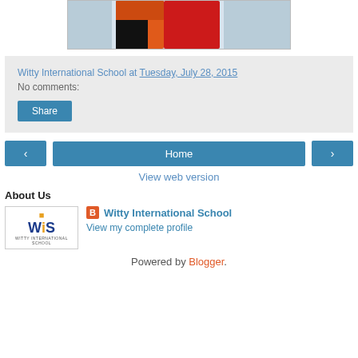[Figure (photo): Partial photo of people, cropped at top of page, showing two individuals in colorful clothing]
Witty International School at Tuesday, July 28, 2015
No comments:
Share
Home
View web version
About Us
[Figure (logo): Witty International School logo with WIS text and a figure icon]
Witty International School
View my complete profile
Powered by Blogger.